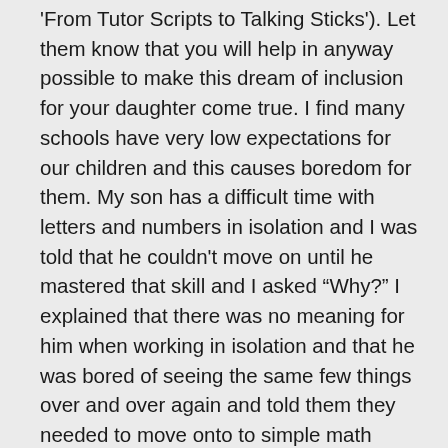'From Tutor Scripts to Talking Sticks'). Let them know that you will help in anyway possible to make this dream of inclusion for your daughter come true. I find many schools have very low expectations for our children and this causes boredom for them. My son has a difficult time with letters and numbers in isolation and I was told that he couldn't move on until he mastered that skill and I asked “Why?” I explained that there was no meaning for him when working in isolation and that he was bored of seeing the same few things over and over again and told them they needed to move onto to simple math problems and sight words and it is about mastering a concept not the actual problems. We are